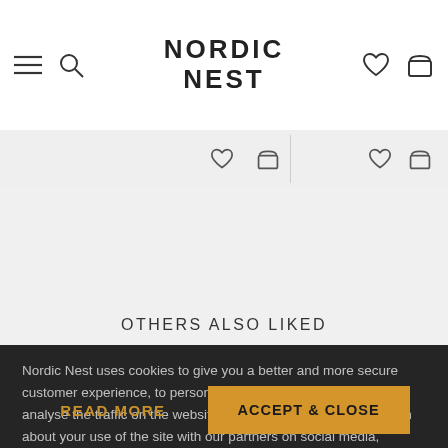NORDIC NEST
OTHERS ALSO LIKED
Nordic Nest uses cookies to give you a better and more secure customer experience, to personalise content and adverts and to analyse the traffic on the website. We may also share information about your use of the site with our partners on social media, marketing and analytics. You confirm that you have read our cookie policy and agree to our use of cookies by clicking "Accept & close".
READ MORE
ACCEPT & CLOSE